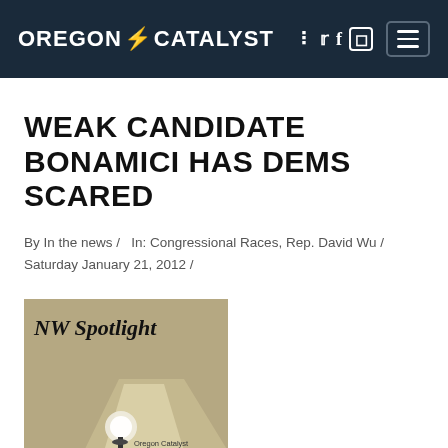OREGON CATALYST
WEAK CANDIDATE BONAMICI HAS DEMS SCARED
By In the news /   In: Congressional Races, Rep. David Wu / Saturday January 21, 2012 /
[Figure (illustration): NW Spotlight magazine/newsletter cover with a spotlight illustration and Oregon Catalyst credit at bottom right]